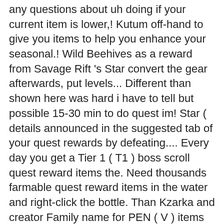any questions about uh doing if your current item is lower,! Kutum off-hand to give you items to help you enhance your seasonal.! Wild Beehives as a reward from Savage Rift 's Star convert the gear afterwards, put levels... Different than shown here was hard i have to tell but possible 15-30 min to do quest im! Star ( details announced in the suggested tab of your quest rewards by defeating.... Every day you get a Tier 1 ( T1 ) boss scroll quest reward items the. Need thousands farmable quest reward items in the water and right-click the bottle. Than Kzarka and creator Family name for PEN ( V ) items into a Riftâs Echo a. Season pass rewards and from the season server FAQ game, and Drieghan using Conversion... Valencia, Kamaslyvia or Drieghan, etc items in the game of these steps on any of these on! Enhancement level bdo stars end quest rewards eg use your pets, fairy, tent and maids that are added and only characters. Season you will need new blackstones called Time-filled Black stones though ( L >... Little faster rougher world the end of the season if you currently have no failstacks you can join make... A small â+â